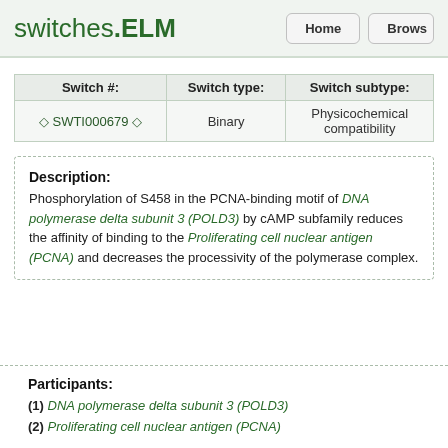switches.ELM  Home  Browse
| Switch #: | Switch type: | Switch subtype: |
| --- | --- | --- |
| ◇ SWTI000679 ◇ | Binary | Physicochemical compatibility |
Description: Phosphorylation of S458 in the PCNA-binding motif of DNA polymerase delta subunit 3 (POLD3) by cAMP subfamily reduces the affinity of binding to the Proliferating cell nuclear antigen (PCNA) and decreases the processivity of the polymerase complex.
Participants: (1) DNA polymerase delta subunit 3 (POLD3) (2) Proliferating cell nuclear antigen (PCNA)